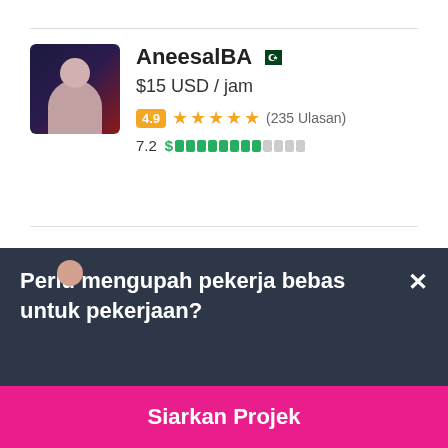AneesalBA
$15 USD / jam
4.9 ★★★★★ (235 Ulasan)
7.2 $ [progress bar]
maaria1991
Perlu mengupah pekerja bebas untuk pekerjaan?
Siarkan Projek